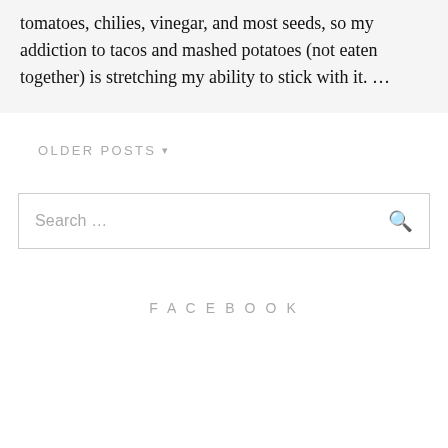tomatoes, chilies, vinegar, and most seeds, so my addiction to tacos and mashed potatoes (not eaten together) is stretching my ability to stick with it. …
OLDER POSTS ▾
Search …
FACEBOOK